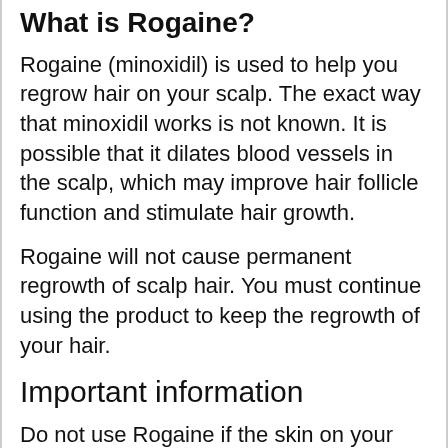What is Rogaine?
Rogaine (minoxidil) is used to help you regrow hair on your scalp. The exact way that minoxidil works is not known. It is possible that it dilates blood vessels in the scalp, which may improve hair follicle function and stimulate hair growth.
Rogaine will not cause permanent regrowth of scalp hair. You must continue using the product to keep the regrowth of your hair.
Important information
Do not use Rogaine if the skin on your scalp is damaged, irritated, or sunburned. This may allow more of the medication to be absorbed by